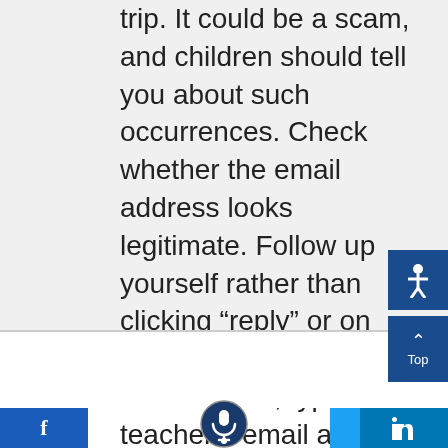trip. It could be a scam, and children should tell you about such occurrences. Check whether the email address looks legitimate. Follow up yourself rather than clicking “reply” or on any links in the email. For instance, type the teacher’s email address in a new email or give the school a call.
[Figure (infographic): Social media footer bar with Facebook, Twitter, LinkedIn icons and a microphone/accessibility button. Also accessibility and top-of-page navigation buttons on the right side.]